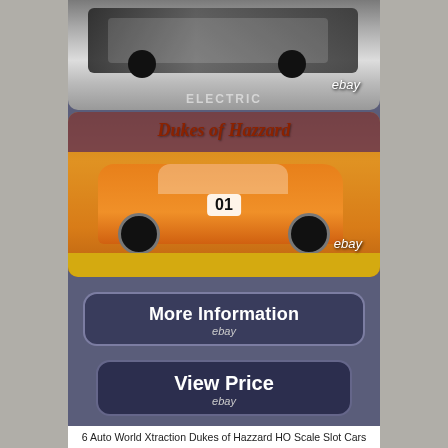[Figure (photo): Top photo: HO scale slot car in packaging with 'ELECTRIC' text visible at bottom, eBay watermark]
[Figure (photo): Photo of orange Dukes of Hazzard General Lee (1969 Dodge Charger) slot car with number 01, in Dukes of Hazzard branded packaging, eBay watermark]
[Figure (other): 'More Information' button with eBay logo, dark rounded rectangle style]
[Figure (other): 'View Price' button with eBay logo, dark rounded rectangle style]
6 Auto World Xtraction Dukes of Hazzard HO Scale Slot Cars Release 5, 120A. Run on all HO Scale major slot car sets - AFX, Tomy, Auto World. Not recommended for children, can be challenging to keep on track. Each car in its own sealed plastic showcase. 1969 Dodge Charger General Lee. Daisy Duke's Jeep CJ5. Rosco's 1977 Dodge Monaco. Daisy Duke's...